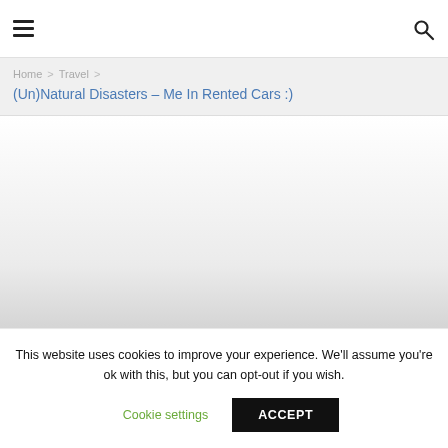Navigation bar with hamburger menu and search icon
Home > Travel > (Un)Natural Disasters – Me In Rented Cars :)
[Figure (other): Large mostly blank/grey content area below breadcrumb navigation]
This website uses cookies to improve your experience. We'll assume you're ok with this, but you can opt-out if you wish. Cookie settings ACCEPT